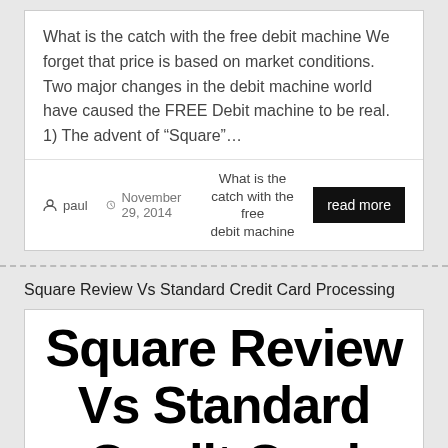What is the catch with the free debit machine We forget that price is based on market conditions. Two major changes in the debit machine world have caused the FREE Debit machine to be real. 1) The advent of “Square”…
paul  November 29, 2014  What is the catch with the free debit machine  read more
Square Review Vs Standard Credit Card Processing
Square Review Vs Standard Credit Card Processing